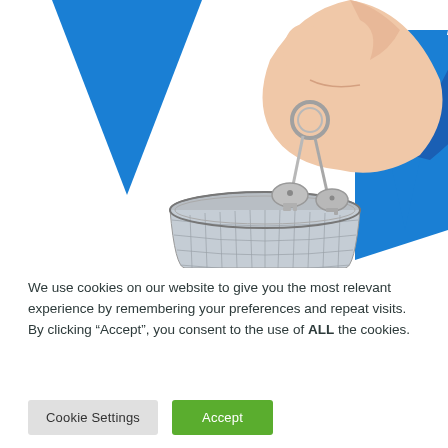[Figure (photo): A hand holding keys dangling over a mesh metal trash bin/wastebasket, with blue triangular graphic design elements in the background on a white background.]
We use cookies on our website to give you the most relevant experience by remembering your preferences and repeat visits. By clicking “Accept”, you consent to the use of ALL the cookies.
Cookie Settings
Accept